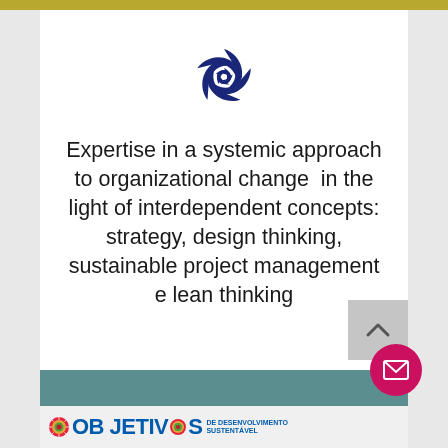[Figure (logo): Blue circular pinwheel/swirl logo with 5 curved blades on white background]
Expertise in a systemic approach to organizational change  in the light of interdependent concepts: strategy, design thinking, sustainable project management e lean thinking
[Figure (other): Scroll-up arrow button (grey background with upward chevron)]
[Figure (other): Pink circular email button with envelope icon]
[Figure (logo): OBJETIVOS DE DESENVOLVIMENTO SUSTENTÁVEL (Sustainable Development Goals) branding strip at bottom of page]